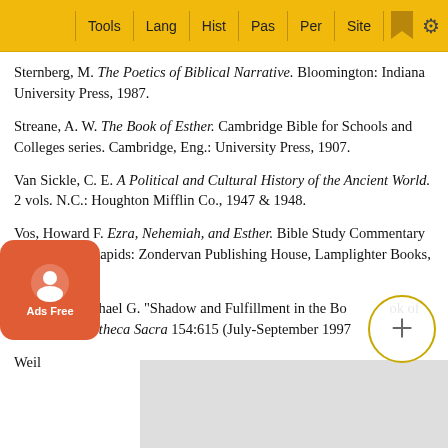Tools | Lang | Hist | Pas | Per | Site
Sternberg, M. The Poetics of Biblical Narrative. Bloomington: Indiana University Press, 1987.
Streane, A. W. The Book of Esther. Cambridge Bible for Schools and Colleges series. Cambridge, Eng.: University Press, 1907.
Van Sickle, C. E. A Political and Cultural History of the Ancient World. 2 vols. N.C.: Houghton Mifflin Co., 1947 & 1948.
Vos, Howard F. Ezra, Nehemiah, and Esther. Bible Study Commentary series. Grand Rapids: Zondervan Publishing House, Lamplighter Books, 1987.
...chsler, Michael G. "Shadow and Fulfillment in the Book of Esther." Bibliotheca Sacra 154:615 (July-September 1997...
Weil...